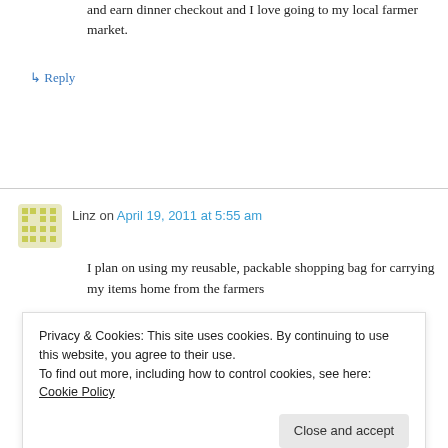and earn dinner checkout and I love going to my local farmer market.
↳ Reply
Linz on April 19, 2011 at 5:55 am
I plan on using my reusable, packable shopping bag for carrying my items home from the farmers
Privacy & Cookies: This site uses cookies. By continuing to use this website, you agree to their use.
To find out more, including how to control cookies, see here: Cookie Policy
Close and accept
and pair it up with things that I buy doing my